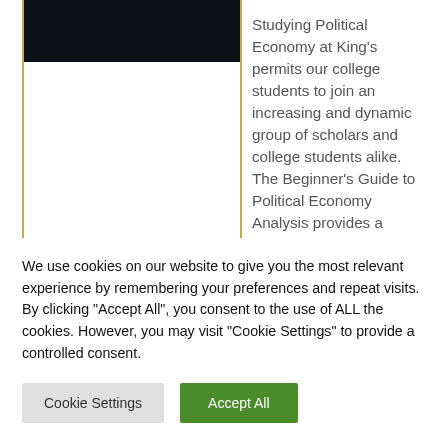[Figure (photo): Dark/black image at the top of a content card, partially visible]
Studying Political Economy at King’s permits our college students to join an increasing and dynamic group of scholars and college students alike. The Beginner’s Guide to Political Economy Analysis provides a learning resource for those
We use cookies on our website to give you the most relevant experience by remembering your preferences and repeat visits. By clicking “Accept All”, you consent to the use of ALL the cookies. However, you may visit "Cookie Settings" to provide a controlled consent.